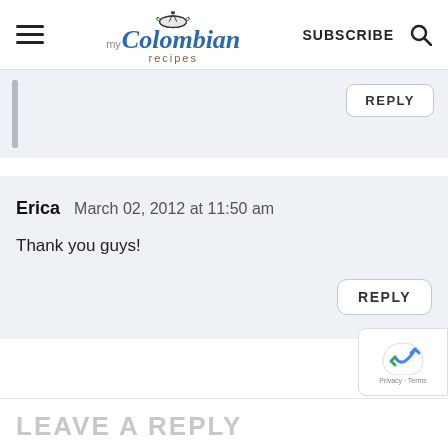my Colombian recipes — SUBSCRIBE
REPLY
Erica   March 02, 2012 at 11:50 am

Thank you guys!
REPLY
LEAVE A REPLY